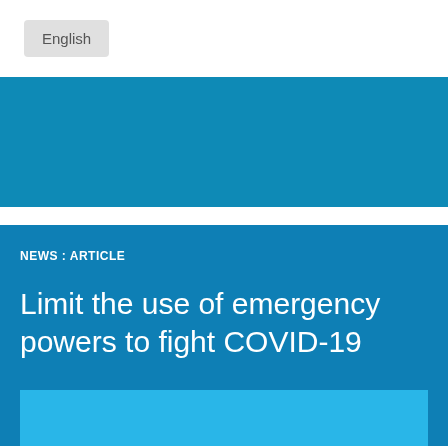English
[Figure (other): Blue banner/header image strip]
NEWS : ARTICLE
Limit the use of emergency powers to fight COVID-19